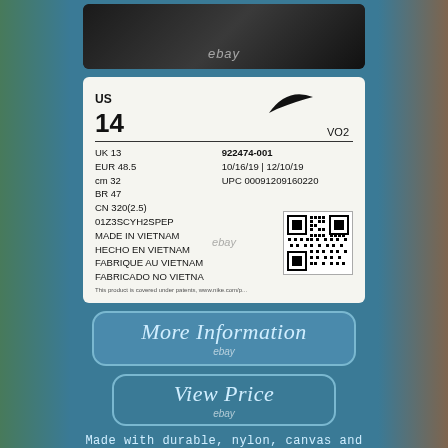[Figure (photo): Dark-colored Nike sneakers viewed from above against a wooden surface background]
[Figure (photo): Nike shoe label showing size US 14, UK 13, EUR 48.5, cm 32, BR 47, CN 320(2.5), style 922474-001, dates 10/16/19 and 12/10/19, UPC 00091209160220, code 01Z3SCYH2SPEP, Made in Vietnam / Hecho en Vietnam / Fabrique au Vietnam / Fabricado no Vietna, with QR code and Nike swoosh]
More Information
View Price
Made with durable, nylon, canvas and